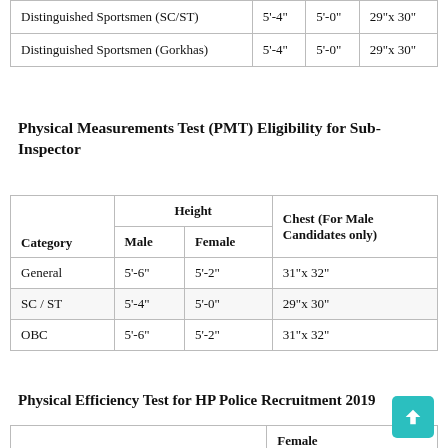| Category | Male | Female | Chest (For Male Candidates only) |
| --- | --- | --- | --- |
| Distinguished Sportsmen (SC/ST) | 5'-4" | 5'-0" | 29"x 30" |
| Distinguished Sportsmen (Gorkhas) | 5'-4" | 5'-0" | 29"x 30" |
Physical Measurements Test (PMT) Eligibility for Sub-Inspector
| Category | Height - Male | Height - Female | Chest (For Male Candidates only) |
| --- | --- | --- | --- |
| General | 5'-6" | 5'-2" | 31"x 32" |
| SC / ST | 5'-4" | 5'-0" | 29"x 30" |
| OBC | 5'-6" | 5'-2" | 31"x 32" |
Physical Efficiency Test for HP Police Recruitment 2019
|  | Female |
| --- | --- |